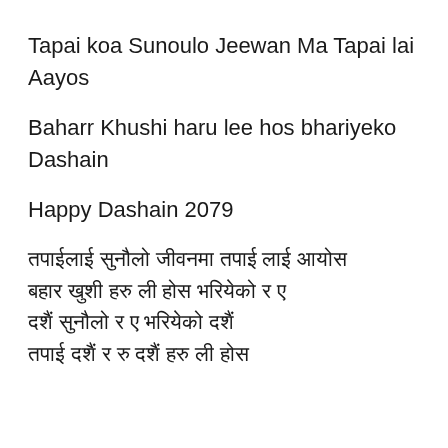Tapai koa Sunoulo Jeewan Ma Tapai lai Aayos
Baharr Khushi haru lee hos bhariyeko Dashain
Happy Dashain 2079
तपाईलाई सुनौलो जीवनमा तपाई लाई आयोस बहार खुशी हरु ली होस भरियेको र ए दशैंको शुभ तपाई जीवन र रु तपाई दशैं हरु ली होस